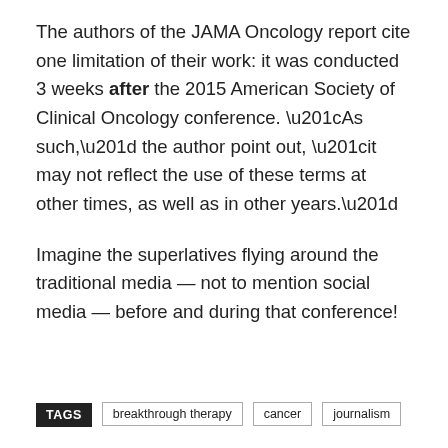The authors of the JAMA Oncology report cite one limitation of their work: it was conducted 3 weeks after the 2015 American Society of Clinical Oncology conference. “As such,” the author point out, “it may not reflect the use of these terms at other times, as well as in other years.”
Imagine the superlatives flying around the traditional media — not to mention social media — before and during that conference!
TAGS  breakthrough therapy  cancer  journalism